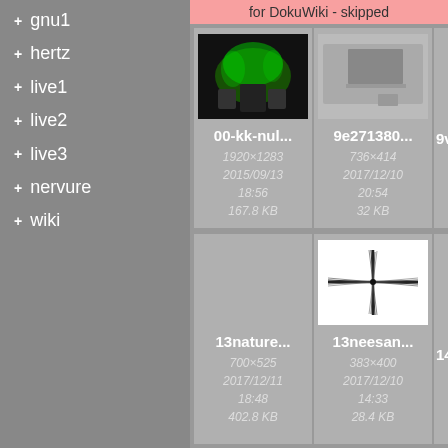+ gnu1
+ hertz
+ live1
+ live2
+ live3
+ nervure
+ wiki
for DokuWiki - skipped
[Figure (photo): Concert photo with green lighting, showing performers on stage]
00-kk-nul...
1920×1283
2015/09/13
18:56
167.8 KB
[Figure (photo): Photo of a desk/workstation with monitor and equipment]
9e271380...
736×414
2017/12/10
20:54
32 KB
9v...
13nature...
700×525
2017/12/11
18:48
402.8 KB
[Figure (illustration): Black and white cross/plus shape drawing with sketchy lines]
13neesan...
383×400
2017/12/10
14:33
28.4 KB
14...